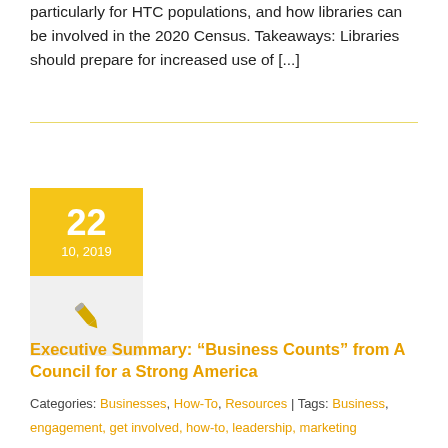particularly for HTC populations, and how libraries can be involved in the 2020 Census. Takeaways: Libraries should prepare for increased use of [...]
[Figure (other): Date card showing 22 / 10, 2019 in gold/yellow background with pencil icon below on grey background]
Executive Summary: “Business Counts” from A Council for a Strong America
Categories: Businesses, How-To, Resources | Tags: Business, engagement, get involved, how-to, leadership, marketing